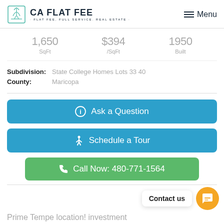CA FLAT FEE · FLAT FEE, FULL SERVICE. REAL ESTATE · Menu
1,650 SqFt | $394 /SqFt | 1950 Built
Subdivision: State College Homes Lots 33 40
County: Maricopa
Ask a Question
Schedule a Tour
Call Now: 480-771-1564
Contact us
Prime Tempe location! investment